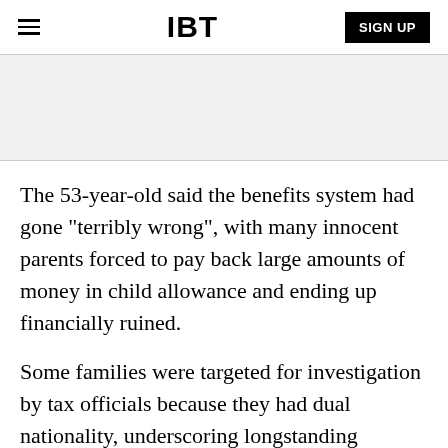IBT
The 53-year-old said the benefits system had gone "terribly wrong", with many innocent parents forced to pay back large amounts of money in child allowance and ending up financially ruined.
Some families were targeted for investigation by tax officials because they had dual nationality, underscoring longstanding criticisms of systemic racism in the Netherlands.